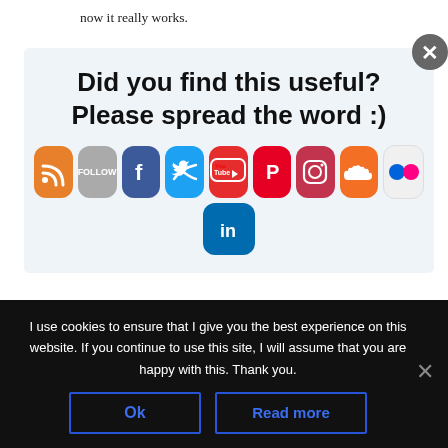now it really works.
I totally agree about book covers. I'm a romance
[Figure (infographic): Social sharing prompt overlay box with the heading 'Did you find this useful? Please spread the word :)' and social media icons: RSS, Follow, Facebook, Twitter, YouTube, Pinterest, Instagram, SoundCloud, Flickr, LinkedIn. A close (X) button appears at top right.]
put that thing up wherever I can
I use cookies to ensure that I give you the best experience on this website. If you continue to use this site, I will assume that you are happy with this. Thank you.
Ok
Read more